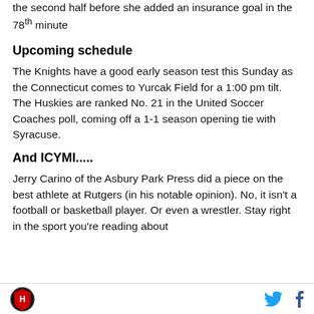the second half before she added an insurance goal in the 78th minute
Upcoming schedule
The Knights have a good early season test this Sunday as the Connecticut comes to Yurcak Field for a 1:00 pm tilt. The Huskies are ranked No. 21 in the United Soccer Coaches poll, coming off a 1-1 season opening tie with Syracuse.
And ICYMI.....
Jerry Carino of the Asbury Park Press did a piece on the best athlete at Rutgers (in his notable opinion). No, it isn't a football or basketball player. Or even a wrestler. Stay right in the sport you're reading about
Logo and social media icons